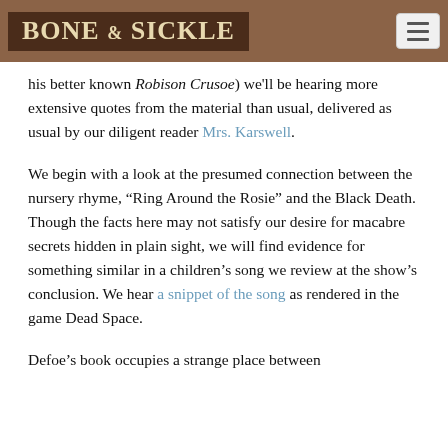BONE & SICKLE
his better known Robison Crusoe) we'll be hearing more extensive quotes from the material than usual, delivered as usual by our diligent reader Mrs. Karswell.
We begin with a look at the presumed connection between the nursery rhyme, “Ring Around the Rosie” and the Black Death. Though the facts here may not satisfy our desire for macabre secrets hidden in plain sight, we will find evidence for something similar in a children’s song we review at the show’s conclusion. We hear a snippet of the song as rendered in the game Dead Space.
Defoe’s book occupies a strange place between